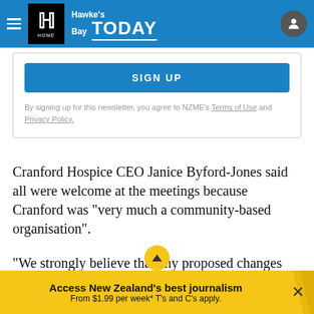Hawke's Bay TODAY
[Figure (screenshot): SIGN UP button - blue rectangular button for newsletter signup]
By signing up for this newsletter, you agree to NZME's Terms of Use and Privacy Policy.
Cranford Hospice CEO Janice Byford-Jones said all were welcome at the meetings because Cranford was "very much a community-based organisation".
"We strongly believe that any proposed changes should be discussed with those who may be
Access New Zealand's best journalism From $1.99 per week* T's and C's apply.